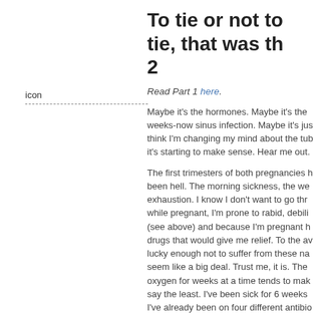[Figure (other): Icon placeholder with label 'icon' and dashed border below]
To tie or not to tie, that was th… 2
Read Part 1 here.
Maybe it's the hormones. Maybe it's the weeks-now sinus infection. Maybe it's just think I'm changing my mind about the tub it's starting to make sense. Hear me out.
The first trimesters of both pregnancies h been hell. The morning sickness, the we exhaustion. I know I don't want to go thr while pregnant, I'm prone to rabid, debili (see above) and because I'm pregnant h drugs that would give me relief. To the av lucky enough not to suffer from these na seem like a big deal. Trust me, it is. The oxygen for weeks at a time tends to mak say the least. I've been sick for 6 weeks I've already been on four different antibio suffering. Knowing that pregnancy exace problems doesn't make me want to jump bandwagon again.